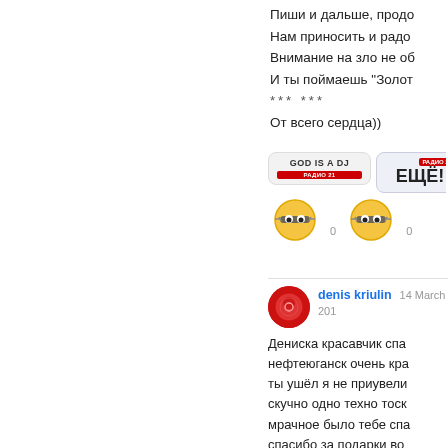Пиши и дальше, продо...
Нам приносить и радо...
Внимание на зло не об...
И ты поймаешь "Золот...
*** ***
От всего сердца))
[Figure (illustration): Two sticker images: 'GOD IS A DJ' radio sticker and 'ЕЩЁ!' radio sticker, each with a cool emoji face below]
denis kriulin  14 March 201...
Дениска красавчик спа...
нефтеюганск очень кра...
ты ушёл я не приувели...
скучно одно техно тоск...
мрачное было тебе спа...
спасибо за подарки во...
, я сколько хожу в клуб...
дарил такие потрясаю...
всегда ждём тебя в гос...
свежие я просто сам с...